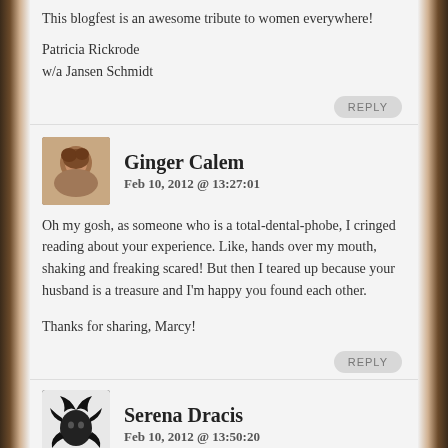This blogfest is an awesome tribute to women everywhere!
Patricia Rickrode
w/a Jansen Schmidt
REPLY
[Figure (photo): Avatar photo of Ginger Calem, a woman with short brown hair]
Ginger Calem
Feb 10, 2012 @ 13:27:01
Oh my gosh, as someone who is a total-dental-phobe, I cringed reading about your experience. Like, hands over my mouth, shaking and freaking scared! But then I teared up because your husband is a treasure and I'm happy you found each other.
Thanks for sharing, Marcy!
REPLY
[Figure (illustration): Avatar icon of Serena Dracis, a dark stylized dragon/creature silhouette]
Serena Dracis
Feb 10, 2012 @ 13:50:20
What a moving post. How stressful for you, and what a prince your husband was. I loved reading